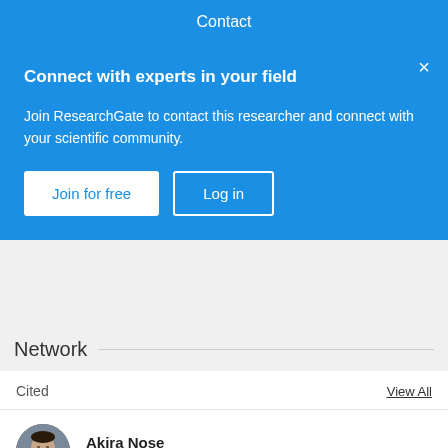Contact
Connect with experts in your field
Join ResearchGate to contact this researcher and connect with your scientific community.
Join for free
Log in
Network
Cited
View All
Akira Nose
Yasuda Women's University
Richard M Ryan